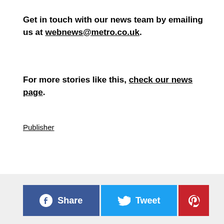Get in touch with our news team by emailing us at webnews@metro.co.uk.
For more stories like this, check our news page.
Publisher
Black
death
force
jury
justified
Man
police
rules
[Figure (infographic): Social share buttons: Facebook Share, Tweet, and Pinterest]